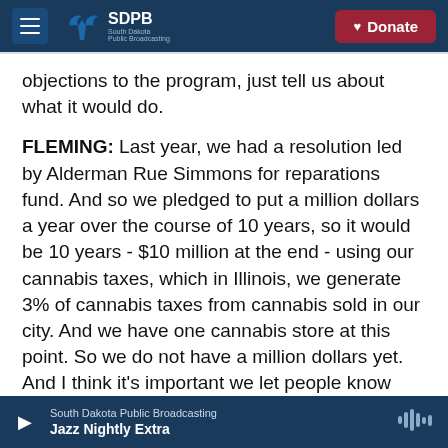SDPB South Dakota Public Broadcasting | Donate
objections to the program, just tell us about what it would do.
FLEMING: Last year, we had a resolution led by Alderman Rue Simmons for reparations fund. And so we pledged to put a million dollars a year over the course of 10 years, so it would be 10 years - $10 million at the end - using our cannabis taxes, which in Illinois, we generate 3% of cannabis taxes from cannabis sold in our city. And we have one cannabis store at this point. So we do not have a million dollars yet. And I think it's important we let people know that we have a little less - we have
South Dakota Public Broadcasting | Jazz Nightly Extra